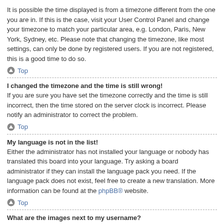It is possible the time displayed is from a timezone different from the one you are in. If this is the case, visit your User Control Panel and change your timezone to match your particular area, e.g. London, Paris, New York, Sydney, etc. Please note that changing the timezone, like most settings, can only be done by registered users. If you are not registered, this is a good time to do so.
Top
I changed the timezone and the time is still wrong!
If you are sure you have set the timezone correctly and the time is still incorrect, then the time stored on the server clock is incorrect. Please notify an administrator to correct the problem.
Top
My language is not in the list!
Either the administrator has not installed your language or nobody has translated this board into your language. Try asking a board administrator if they can install the language pack you need. If the language pack does not exist, feel free to create a new translation. More information can be found at the phpBB® website.
Top
What are the images next to my username?
There are two images which may appear along with a username when viewing